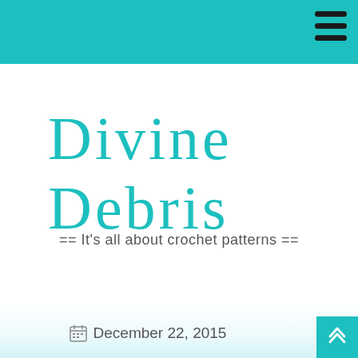Divine Debris
Divine Debris
== It's all about crochet patterns ==
December 22, 2015